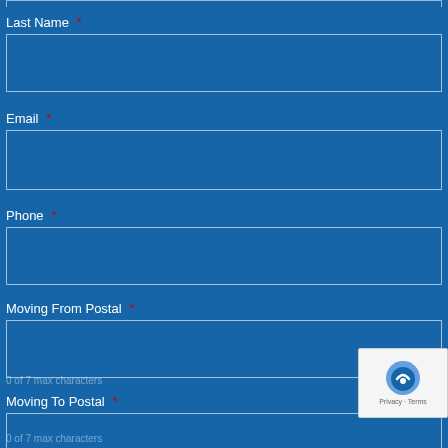Last Name *
Email *
Phone *
Moving From Postal *
0 of 7 max characters
Moving To Postal *
0 of 7 max characters